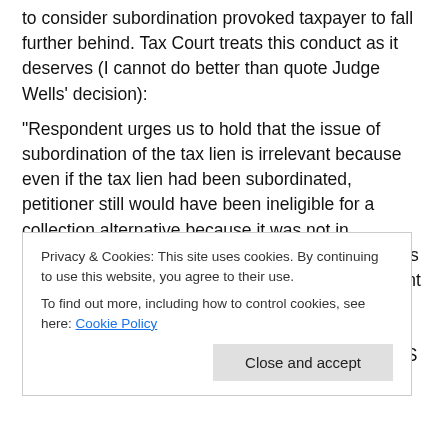to consider subordination provoked taxpayer to fall further behind. Tax Court treats this conduct as it deserves (I cannot do better than quote Judge Wells' decision):
“Respondent urges us to hold that the issue of subordination of the tax lien is irrelevant because even if the tax lien had been subordinated, petitioner still would have been ineligible for a collection alternative because it was not in compliance with its employment tax deposits. In his briefs respondent did not even address the relevant law governing the priority of tax liens, nor did he bother to respond to petitioner’s arguments that Mr. Lee [IRS
Privacy & Cookies: This site uses cookies. By continuing to use this website, you agree to their use.
To find out more, including how to control cookies, see here: Cookie Policy